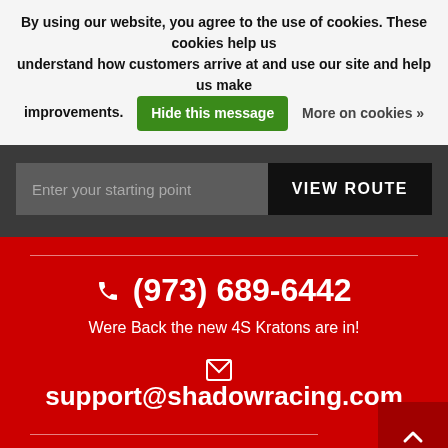By using our website, you agree to the use of cookies. These cookies help us understand how customers arrive at and use our site and help us make improvements. Hide this message More on cookies »
Enter your starting point
VIEW ROUTE
(973) 689-6442
Were Back the new 4S Kratons are in!
support@shadowracing.com
Sign up for our newsletter: